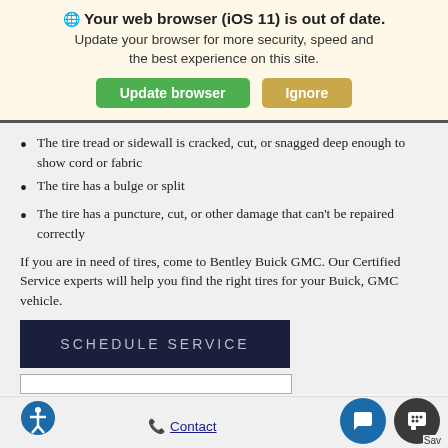Your web browser (iOS 11) is out of date. Update your browser for more security, speed and the best experience on this site.
[Figure (screenshot): Two buttons: 'Update browser' (green) and 'Ignore' (tan/orange)]
The tire tread or sidewall is cracked, cut, or snagged deep enough to show cord or fabric
The tire has a bulge or split
The tire has a puncture, cut, or other damage that can't be repaired correctly
If you are in need of tires, come to Bentley Buick GMC. Our Certified Service experts will help you find the right tires for your Buick, GMC vehicle.
[Figure (screenshot): Dark navy blue 'SCHEDULE SERVICE' button]
Accessibility icon | Contact | Chat | Save